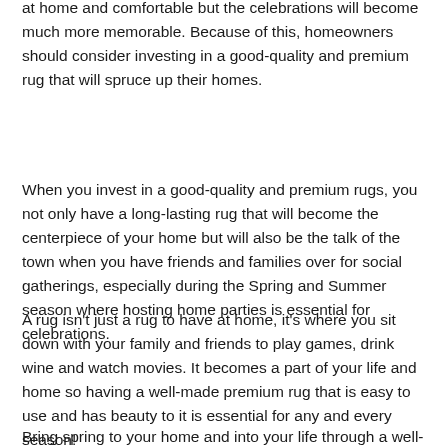at home and comfortable but the celebrations will become much more memorable. Because of this, homeowners should consider investing in a good-quality and premium rug that will spruce up their homes.
When you invest in a good-quality and premium rugs, you not only have a long-lasting rug that will become the centerpiece of your home but will also be the talk of the town when you have friends and families over for social gatherings, especially during the Spring and Summer season where hosting home parties is essential for celebrations.
A rug isn't just a rug to have at home, it's where you sit down with your family and friends to play games, drink wine and watch movies. It becomes a part of your life and home so having a well-made premium rug that is easy to use and has beauty to it is essential for any and every season!
Bring spring to your home and into your life through a well-designed